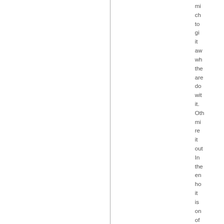might choose to give it away when they are done with it. Others might rent it out. In the end, however, it is one of